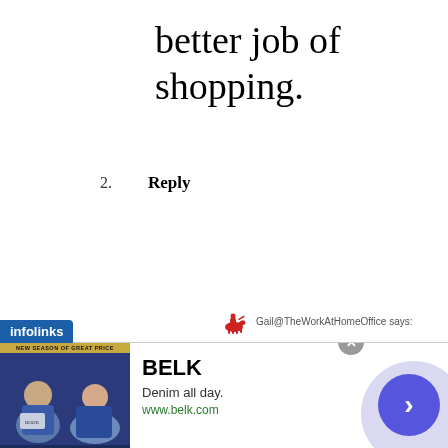better job of shopping.
2.   Reply
Gail@TheWorkAtHomeOffice says:
June 30, 2020 at 7:31 pm
Hi Sami,
I'm happy that I was able to confirm your
[Figure (infographic): Infolinks ad banner at bottom showing BELK brand ad with Denim all day tagline, www.belk.com URL, people image, and navigation arrow button]